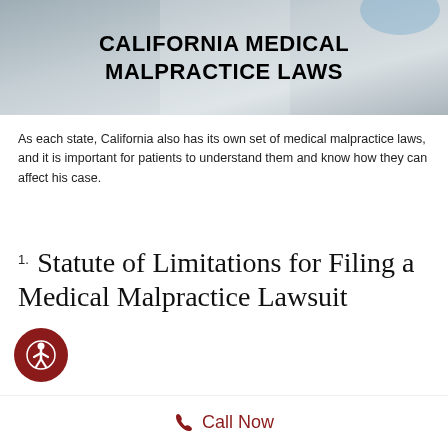[Figure (photo): Hero banner image showing a person in medical attire (doctor/nurse) with blue gloves, with bold white/dark text overlay reading CALIFORNIA MEDICAL MALPRACTICE LAWS]
CALIFORNIA MEDICAL MALPRACTICE LAWS
As each state, California also has its own set of medical malpractice laws, and it is important for patients to understand them and know how they can affect his case.
1. Statute of Limitations for Filing a Medical Malpractice Lawsuit
Call Now